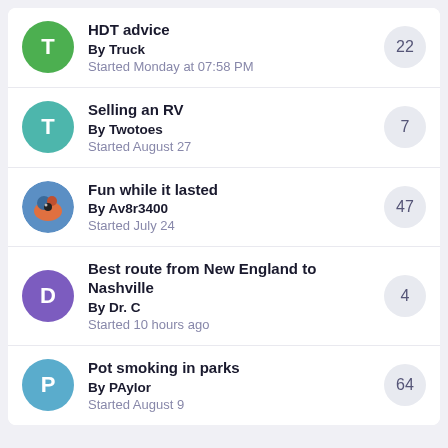HDT advice | By Truck | Started Monday at 07:58 PM | 22
Selling an RV | By Twotoes | Started August 27 | 7
Fun while it lasted | By Av8r3400 | Started July 24 | 47
Best route from New England to Nashville | By Dr. C | Started 10 hours ago | 4
Pot smoking in parks | By PAylor | Started August 9 | 64